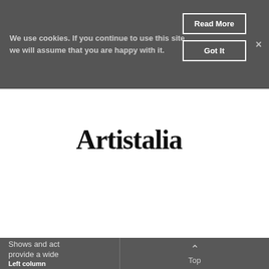We use cookies. If you continue to use this site we will assume that you are happy with it.
Read More
Got It
[Figure (logo): Artistalia Management & Productions logo with colorful leaf shapes behind stylized serif text]
SE
...
SEARCH OUR CATA
Home › Search by event type › Children's
Children's
Shows and act... provide a wide
Left column
Top